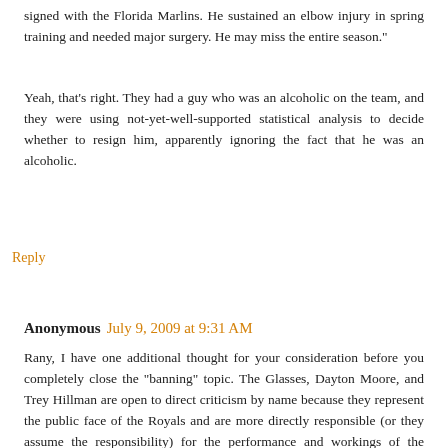signed with the Florida Marlins. He sustained an elbow injury in spring training and needed major surgery. He may miss the entire season."
Yeah, that's right. They had a guy who was an alcoholic on the team, and they were using not-yet-well-supported statistical analysis to decide whether to resign him, apparently ignoring the fact that he was an alcoholic.
Reply
Anonymous  July 9, 2009 at 9:31 AM
Rany, I have one additional thought for your consideration before you completely close the "banning" topic. The Glasses, Dayton Moore, and Trey Hillman are open to direct criticism by name because they represent the public face of the Royals and are more directly responsible (or they assume the responsibility) for the performance and workings of the organization. Nick Swartz is a "silent" employee and is therefore probably deemed to be off limits to direct personal criticism. Just a thought.